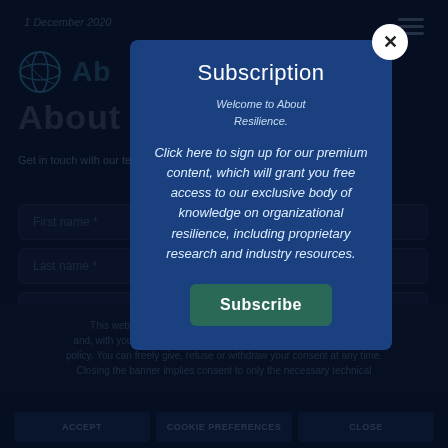[Figure (screenshot): Dark-themed website background showing About Resilience website with logo, headline, form fields, and cookie banner, all dimmed behind a modal overlay]
Subscription
Welcome to About Resilience.
Click here to sign up for our premium content, which will grant you free access to our exclusive body of knowledge on organizational resilience, including proprietary research and industry resources.
Subscribe